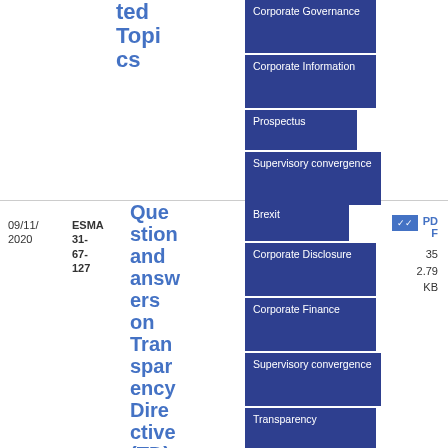ted Topics
[Figure (infographic): Navigation tag buttons: Corporate Governance, Corporate Information, Prospectus, Supervisory convergence (top section); Brexit, Corporate Disclosure, Corporate Finance, Supervisory convergence, Transparency (bottom section)]
09/11/2020
ESMA 31-67-127
Questions and answers on Transparency Directive (TD)
Q&A
PDF
35
2.79 KB